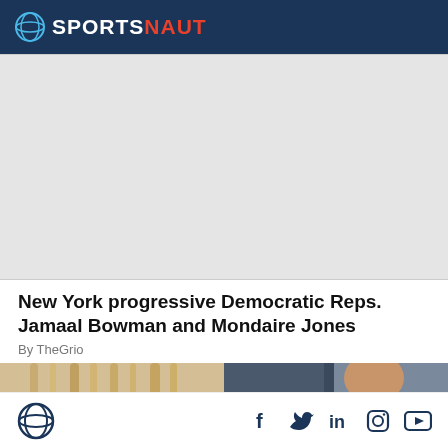SPORTSNAUT
[Figure (other): Gray advertisement placeholder rectangle]
New York progressive Democratic Reps. Jamaal Bowman and Mondaire Jones
By TheGrio
[Figure (photo): Photo strip showing two individuals side by side, partially cropped — a blonde person on the left and a person in white on the right]
Sportsnaut logo and social media icons: Facebook, Twitter, LinkedIn, Instagram, YouTube